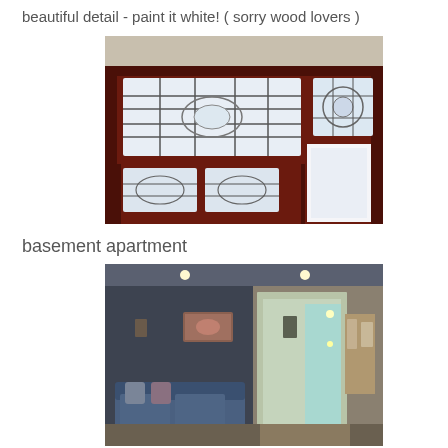beautiful detail - paint it white!  ( sorry wood lovers )
[Figure (photo): Interior photo showing ornate wooden door with leaded glass transom windows and decorative stained glass panels set in dark mahogany woodwork.]
basement apartment
[Figure (photo): Interior photo of a basement apartment showing dark charcoal painted walls, a blue sofa, and a hallway leading to a brighter room with teal walls.]